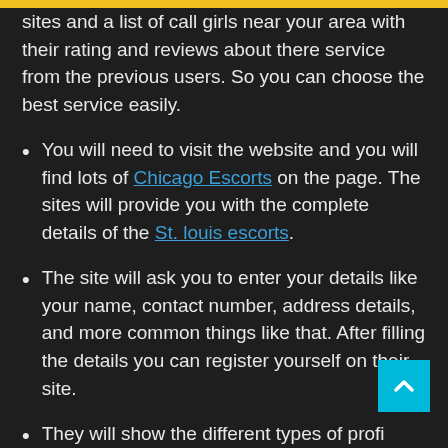sites and a list of call girls near your area with their rating and reviews about there service from the previous users. So you can choose the best service easily.
You will need to visit the website and you will find lots of Chicago Escorts on the page. The sites will provide you with the complete details of the St. louis escorts.
The site will ask you to enter your details like your name, contact number, address details, and more common things like that. After filling the details you can register yourself on their site.
They will show the different types of profiles on their site. With the complete details of the body, figure measurements, what they like